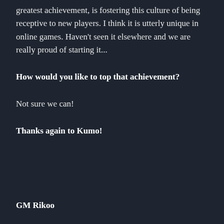greatest achievement, is fostering this culture of being receptive to new players. I think it is utterly unique in online games. Haven't seen it elsewhere and we are really proud of starting it...
How would you like to top that achievement?
Not sure we can!
Thanks again to Kumo!
GM Rikoo